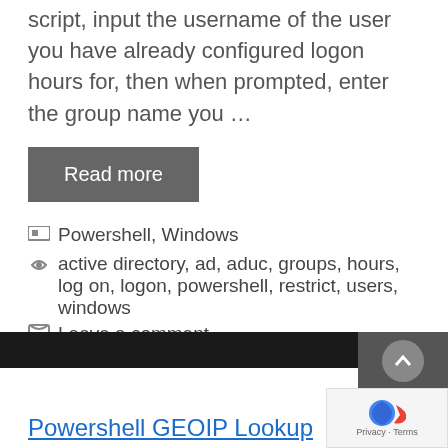script, input the username of the user you have already configured logon hours for, then when prompted, enter the group name you …
Read more
Powershell, Windows
active directory, ad, aduc, groups, hours, log on, logon, powershell, restrict, users, windows
Leave a comment
Powershell GEOIP Lookup